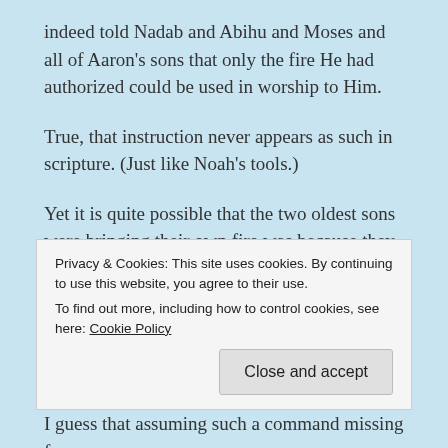indeed told Nadab and Abihu and Moses and all of Aaron's sons that only the fire He had authorized could be used in worship to Him.
True, that instruction never appears as such in scripture. (Just like Noah's tools.)
Yet it is quite possible that the two oldest sons were bringing their own fire was because they had disobeyed by letting the fire go out (Leviticus 6:9-13) which had come from the presence of the Lord a few verses before (Leviticus 9:24). So fire came out from the Lord again
Privacy & Cookies: This site uses cookies. By continuing to use this website, you agree to their use.
To find out more, including how to control cookies, see here: Cookie Policy
I guess that assuming such a command missing from